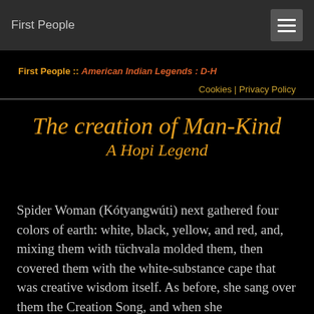First People
First People :: American Indian Legends : D-H
Cookies | Privacy Policy
The creation of Man-Kind
A Hopi Legend
Spider Woman (Kótyangwúti) next gathered four colors of earth: white, black, yellow, and red, and, mixing them with tüchvala molded them, then covered them with the white-substance cape that was creative wisdom itself. As before, she sang over them the Creation Song, and when she